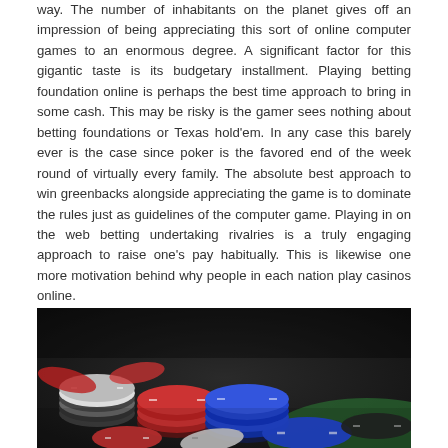way. The number of inhabitants on the planet gives off an impression of being appreciating this sort of online computer games to an enormous degree. A significant factor for this gigantic taste is its budgetary installment. Playing betting foundation online is perhaps the best time approach to bring in some cash. This may be risky is the gamer sees nothing about betting foundations or Texas hold'em. In any case this barely ever is the case since poker is the favored end of the week round of virtually every family. The absolute best approach to win greenbacks alongside appreciating the game is to dominate the rules just as guidelines of the computer game. Playing in on the web betting undertaking rivalries is a truly engaging approach to raise one's pay habitually. This is likewise one more motivation behind why people in each nation play casinos online.
[Figure (photo): A pile of colorful casino poker chips in red, blue, white, and black, stacked and scattered on a green surface, photographed in close-up with shallow depth of field.]